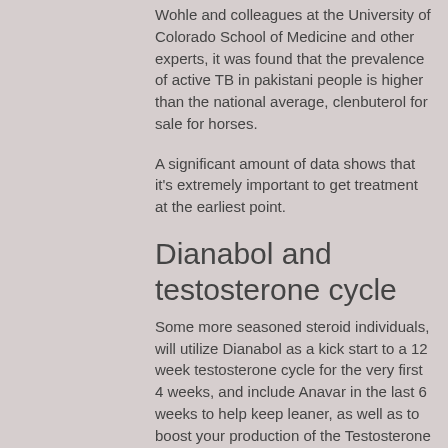Wohle and colleagues at the University of Colorado School of Medicine and other experts, it was found that the prevalence of active TB in pakistani people is higher than the national average, clenbuterol for sale for horses.
A significant amount of data shows that it's extremely important to get treatment at the earliest point.
Dianabol and testosterone cycle
Some more seasoned steroid individuals, will utilize Dianabol as a kick start to a 12 week testosterone cycle for the very first 4 weeks, and include Anavar in the last 6 weeks to help keep leaner, as well as to boost your production of the Testosterone Boosting Hormone (T-H).